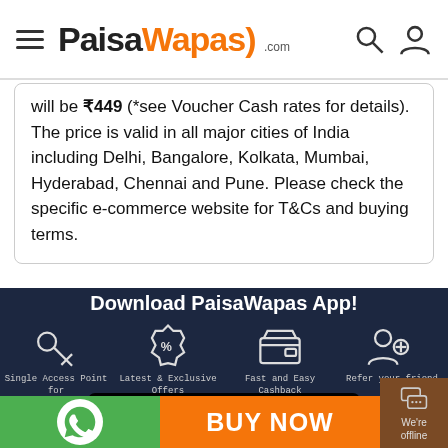PaisaWapas.com
will be ₹449 (*see Voucher Cash rates for details). The price is valid in all major cities of India including Delhi, Bangalore, Kolkata, Mumbai, Hyderabad, Chennai and Pune. Please check the specific e-commerce website for T&Cs and buying terms.
Download PaisaWapas App!
[Figure (illustration): Four feature icons: key (Single Access Point for All Online Stores), badge percent (Latest & Exclusive Offers & Deals for You), wallet (Fast and Easy Cashback Experience), person-plus (Refer your friend and Earn Money)]
[Figure (screenshot): GET IT ON Google Play button]
[Figure (logo): WhatsApp icon in green circle]
BUY NOW
We're offline